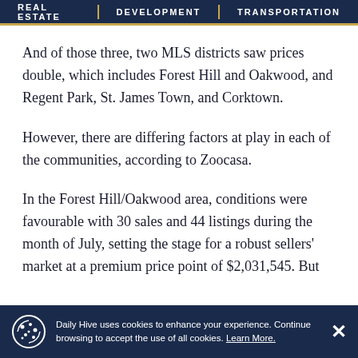REAL ESTATE   DEVELOPMENT   TRANSPORTATION
And of those three, two MLS districts saw prices double, which includes Forest Hill and Oakwood, and Regent Park, St. James Town, and Corktown.
However, there are differing factors at play in each of the communities, according to Zoocasa.
In the Forest Hill/Oakwood area, conditions were favourable with 30 sales and 44 listings during the month of July, setting the stage for a robust sellers' market at a premium price point of $2,031,545. But
Daily Hive uses cookies to enhance your experience. Continue browsing to accept the use of all cookies. Learn More.